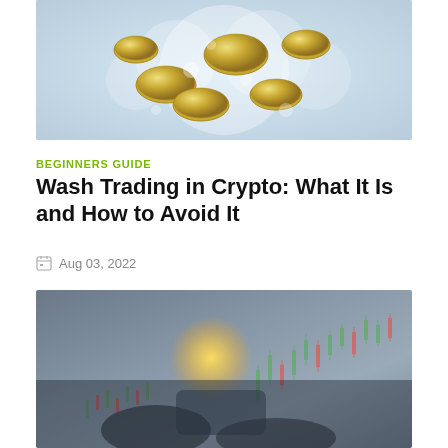[Figure (photo): Photo of coins in soapy water or foam on a light blue background]
BEGINNERS GUIDE
Wash Trading in Crypto: What It Is and How to Avoid It
Aug 03, 2022
[Figure (photo): Dark photo of a person holding a glowing tablet with candlestick trading charts overlaid in the background]